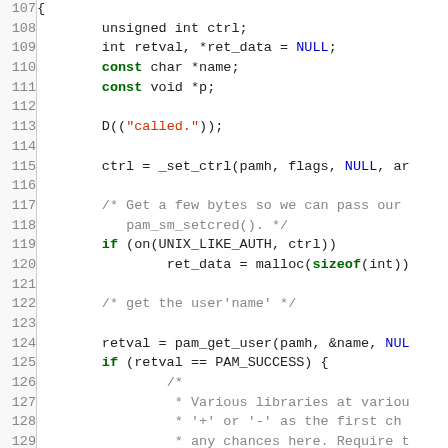[Figure (screenshot): Source code listing in C, lines 107-136, showing a function body with PAM authentication code including variable declarations, D() macro call, _set_ctrl(), malloc(), pam_get_user(), and conditional checks for user name validity.]